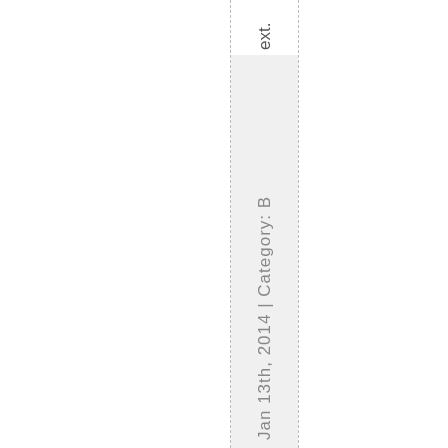ext.
Jan 13th, 2014 | Category: B